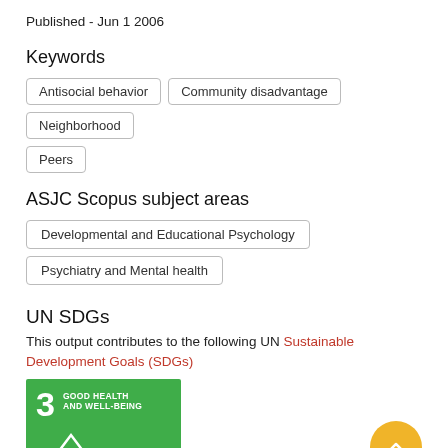Published - Jun 1 2006
Keywords
Antisocial behavior
Community disadvantage
Neighborhood
Peers
ASJC Scopus subject areas
Developmental and Educational Psychology
Psychiatry and Mental health
UN SDGs
This output contributes to the following UN Sustainable Development Goals (SDGs)
[Figure (other): SDG 3: Good Health and Well-Being badge (green square with number 3 and text)]